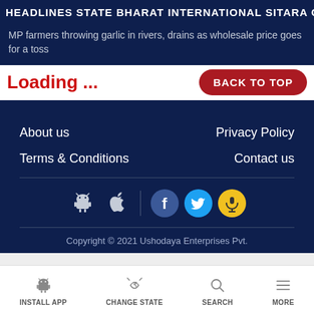HEADLINES  STATE  BHARAT  INTERNATIONAL  SITARA  GA...
MP farmers throwing garlic in rivers, drains as wholesale price goes for a toss
Loading ...
BACK TO TOP
About us
Privacy Policy
Terms & Conditions
Contact us
[Figure (infographic): Social media icons: Android, Apple, Facebook, Twitter, and a yellow microphone/music icon]
Copyright © 2021 Ushodaya Enterprises Pvt.
INSTALL APP  CHANGE STATE  SEARCH  MORE